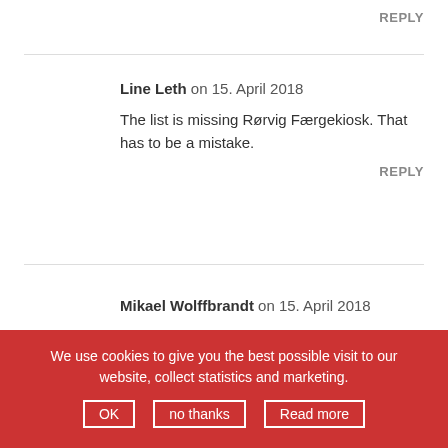REPLY
Line Leth on 15. April 2018
The list is missing Rørvig Færgekiosk. That has to be a mistake.
REPLY
Mikael Wolffbrandt on 15. April 2018
Always friendly service and great ice cream.
We use cookies to give you the best possible visit to our website, collect statistics and marketing.
OK  no thanks  Read more